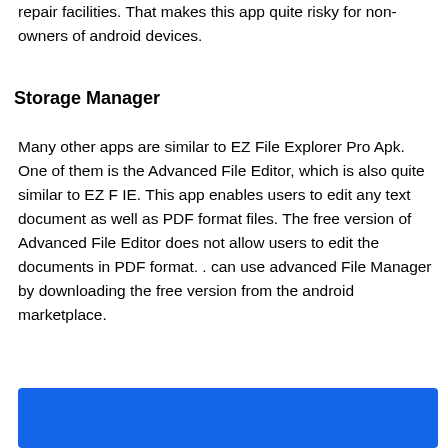repair facilities. That makes this app quite risky for non-owners of android devices.
Storage Manager
Many other apps are similar to EZ File Explorer Pro Apk. One of them is the Advanced File Editor, which is also quite similar to EZ F IE. This app enables users to edit any text document as well as PDF format files. The free version of Advanced File Editor does not allow users to edit the documents in PDF format. . can use advanced File Manager by downloading the free version from the android marketplace.
[Figure (other): Blue rectangle/banner at the bottom of the page]